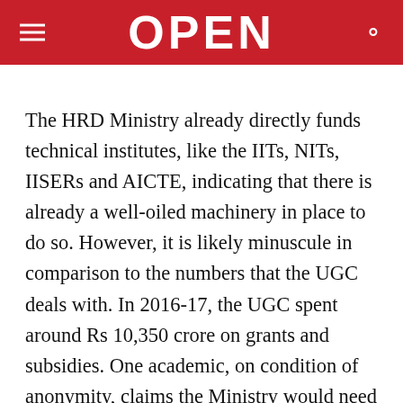OPEN
The HRD Ministry already directly funds technical institutes, like the IITs, NITs, IISERs and AICTE, indicating that there is already a well-oiled machinery in place to do so. However, it is likely minuscule in comparison to the numbers that the UGC deals with. In 2016-17, the UGC spent around Rs 10,350 crore on grants and subsidies. One academic, on condition of anonymity, claims the Ministry would need an entire department to take on the UGC’s ‘grants’ function.
The draft Bill was made public on June 27th, and